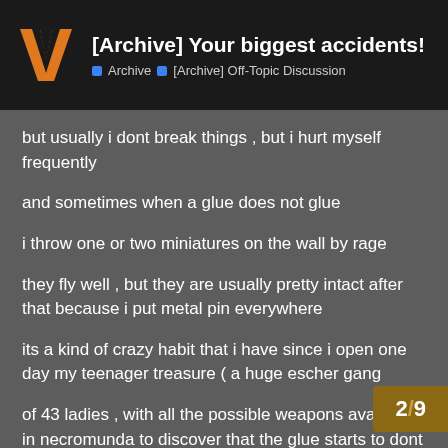[Archive] Your biggest accidents! > Archive > [Archive] Off-Topic Discussion
but usually i dont break things , but i hurt myself frequently
and sometimes when a glue does not glue
i throw one or two miniatures on the wall by rage
they fly well , but they are usually pretty intact after that because i put metal pin everywhere
its a kind of crazy habit that i have since i open one day my teenager treasure ( a huge escher gang
of 43 ladies , with all the possible weapons available in necromunda to discover that the glue starts to dont glue anymore after a while
...they were like , a nightmare in a guy b
2 / 9